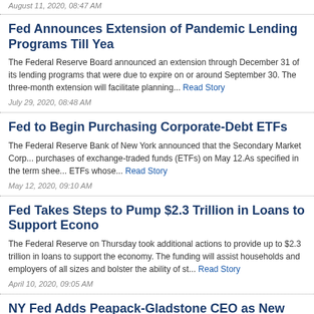August 11, 2020, 08:47 AM
Fed Announces Extension of Pandemic Lending Programs Till Yea
The Federal Reserve Board announced an extension through December 31 of its lending programs that were due to expire on or around September 30. The three-month extension will facilitate planning... Read Story
July 29, 2020, 08:48 AM
Fed to Begin Purchasing Corporate-Debt ETFs
The Federal Reserve Bank of New York announced that the Secondary Market Corporate Credit Facility began purchases of exchange-traded funds (ETFs) on May 12. As specified in the term sheet, the Facility will purchase ETFs whose... Read Story
May 12, 2020, 09:10 AM
Fed Takes Steps to Pump $2.3 Trillion in Loans to Support Economy
The Federal Reserve on Thursday took additional actions to provide up to $2.3 trillion in loans to support the economy. The funding will assist households and employers of all sizes and bolster the ability of st... Read Story
April 10, 2020, 09:05 AM
NY Fed Adds Peapack-Gladstone CEO as New Director
The Federal Reserve Bank of New York announced that Douglas L. Kennedy, pres